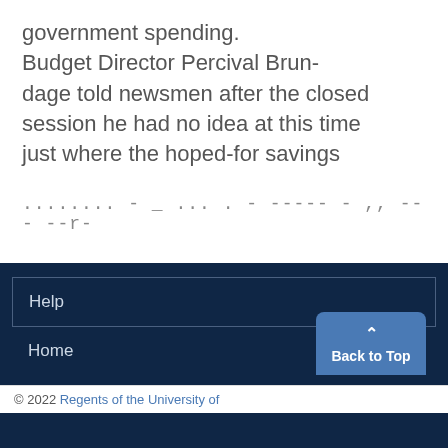government spending. Budget Director Percival Brundage told newsmen after the closed session he had no idea at this time just where the hoped-for savings
........ - _ ... . - ----- - ,, --- --r-
Help
Home
© 2022 Regents of the University of